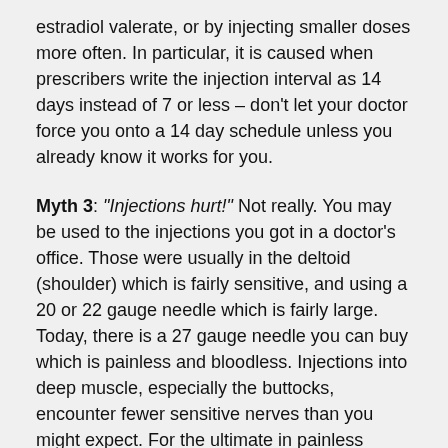estradiol valerate, or by injecting smaller doses more often. In particular, it is caused when prescribers write the injection interval as 14 days instead of 7 or less – don't let your doctor force you onto a 14 day schedule unless you already know it works for you.
Myth 3: "Injections hurt!" Not really. You may be used to the injections you got in a doctor's office. Those were usually in the deltoid (shoulder) which is fairly sensitive, and using a 20 or 22 gauge needle which is fairly large. Today, there is a 27 gauge needle you can buy which is painless and bloodless. Injections into deep muscle, especially the buttocks, encounter fewer sensitive nerves than you might expect. For the ultimate in painless injections you can do subcutaneous injections, shallow injections into the fat layer, with a 30 gauge needle which can be COMPLETELY painless.
Myth 4: "Don't I have to visit the doctor for these shots? I...